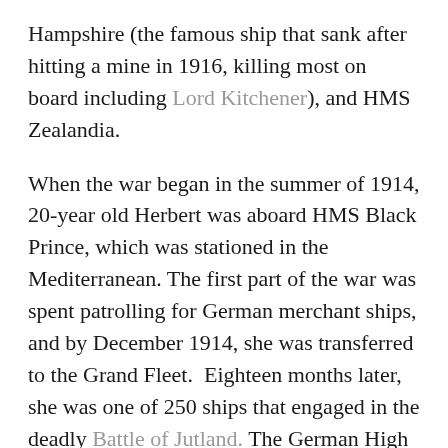Hampshire (the famous ship that sank after hitting a mine in 1916, killing most on board including Lord Kitchener), and HMS Zealandia.
When the war began in the summer of 1914, 20-year old Herbert was aboard HMS Black Prince, which was stationed in the Mediterranean. The first part of the war was spent patrolling for German merchant ships, and by December 1914, she was transferred to the Grand Fleet.  Eighteen months later, she was one of 250 ships that engaged in the deadly Battle of Jutland. The German High Seas Fleet had hoped to surprise the British Fleets, but codebreakers alerted the British to the approaching ships.  The clash began on the afternoon of May 31, 1916 off the coast of Denmark.  Black Prince, approaching the battle with the rest of the Grand Fleet from the north, was